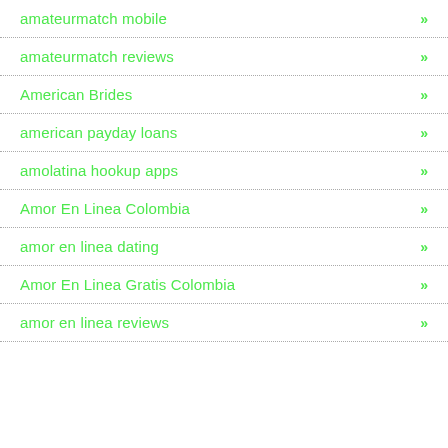amateurmatch mobile
amateurmatch reviews
American Brides
american payday loans
amolatina hookup apps
Amor En Linea Colombia
amor en linea dating
Amor En Linea Gratis Colombia
amor en linea reviews